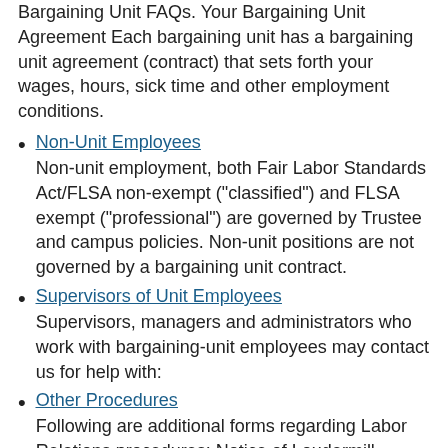Bargaining Unit FAQs. Your Bargaining Unit Agreement Each bargaining unit has a bargaining unit agreement (contract) that sets forth your wages, hours, sick time and other employment conditions.
Non-Unit Employees
Non-unit employment, both Fair Labor Standards Act/FLSA non-exempt ("classified") and FLSA exempt ("professional") are governed by Trustee and campus policies. Non-unit positions are not governed by a bargaining unit contract.
Supervisors of Unit Employees
Supervisors, managers and administrators who work with bargaining-unit employees may contact us for help with:
Other Procedures
Following are additional forms regarding Labor Relations procedures: Notice of Loudermill Hearing Template Didn't find what you were looking for?